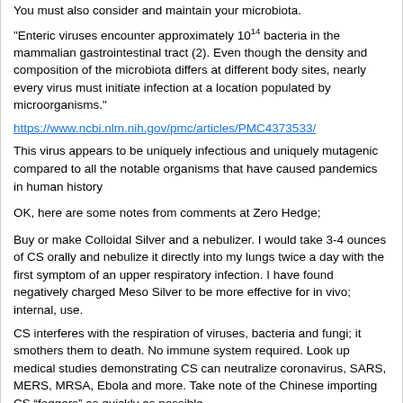You must also consider and maintain your microbiota.
"Enteric viruses encounter approximately 10^14 bacteria in the mammalian gastrointestinal tract (2). Even though the density and composition of the microbiota differs at different body sites, nearly every virus must initiate infection at a location populated by microorganisms."
https://www.ncbi.nlm.nih.gov/pmc/articles/PMC4373533/
This virus appears to be uniquely infectious and uniquely mutagenic compared to all the notable organisms that have caused pandemics in human history
OK, here are some notes from comments at Zero Hedge;
Buy or make Colloidal Silver and a nebulizer. I would take 3-4 ounces of CS orally and nebulize it directly into my lungs twice a day with the first symptom of an upper respiratory infection. I have found negatively charged Meso Silver to be more effective for in vivo; internal, use.
CS interferes with the respiration of viruses, bacteria and fungi; it smothers them to death. No immune system required. Look up medical studies demonstrating CS can neutralize coronavirus, SARS, MERS, MRSA, Ebola and more. Take note of the Chinese importing CS “foggers” as quickly as possible.
see (above long comment) how I oral 'gargle' a dropper full of Liquid Oregano..so it goes back in the throat. It makes you tear up, but then spit it out after a few minutes. Your sinus will clear up in a few hours, and definitely by the next day. Liquid Oregano